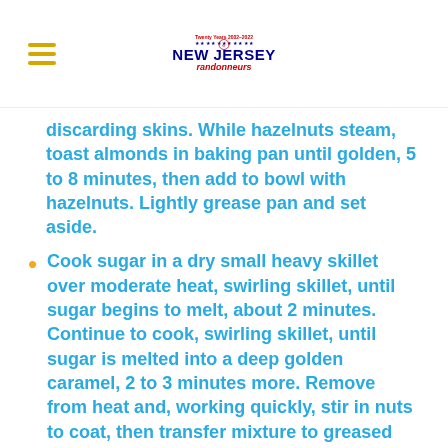New Jersey Randonneurs
discarding skins. While hazelnuts steam, toast almonds in baking pan until golden, 5 to 8 minutes, then add to bowl with hazelnuts. Lightly grease pan and set aside.
Cook sugar in a dry small heavy skillet over moderate heat, swirling skillet, until sugar begins to melt, about 2 minutes. Continue to cook, swirling skillet, until sugar is melted into a deep golden caramel, 2 to 3 minutes more. Remove from heat and, working quickly, stir in nuts to coat, then transfer mixture to greased baking pan, spreading slightly. Let stand at room temperature until hardened and cool,